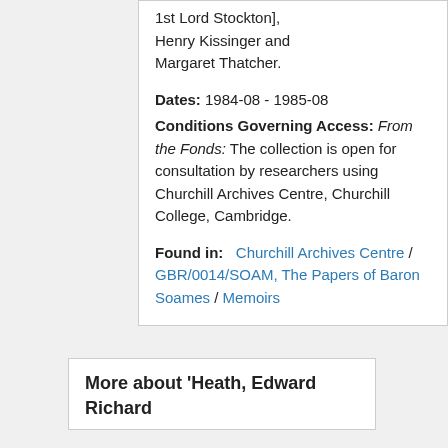1st Lord Stockton], Henry Kissinger and Margaret Thatcher.
Dates: 1984-08 - 1985-08
Conditions Governing Access: From the Fonds: The collection is open for consultation by researchers using Churchill Archives Centre, Churchill College, Cambridge.
Found in: Churchill Archives Centre / GBR/0014/SOAM, The Papers of Baron Soames / Memoirs
More about 'Heath, Edward Richard